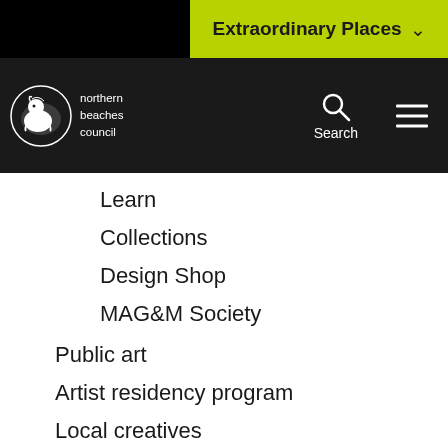[Figure (screenshot): Northern Beaches Council website navigation header with black background, lime/yellow 'Extraordinary Places' dropdown button top right, council logo bottom left, search icon and hamburger menu on right]
Learn
Collections
Design Shop
MAG&M Society
Public art
Artist residency program
Local creatives
Northern Beaches Environmental Art and Design Prize